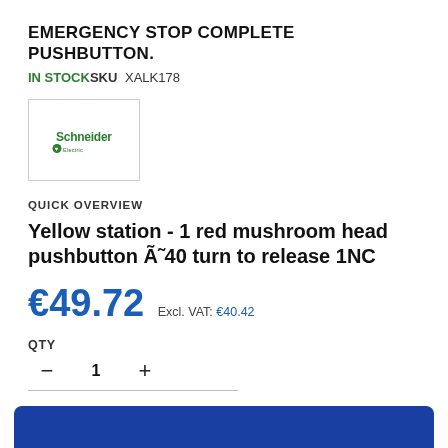EMERGENCY STOP COMPLETE PUSHBUTTON.
IN STOCK SKU  XALK178
[Figure (logo): Schneider Electric company logo — green stylized leaf/electric symbol with 'Schneider Electric' text]
QUICK OVERVIEW
Yellow station - 1 red mushroom head pushbutton Ã˜40 turn to release 1NC
€49.72  Excl. VAT: €40.42
QTY
— 1 +